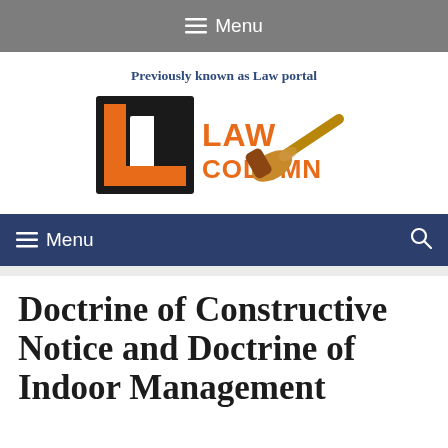☰ Menu
Previously known as Law portal
[Figure (logo): Law Column logo with orange and black LC lettermark and a gavel image, with text LAW COLUMN in orange]
☰ Menu  🔍
Doctrine of Constructive Notice and Doctrine of Indoor Management